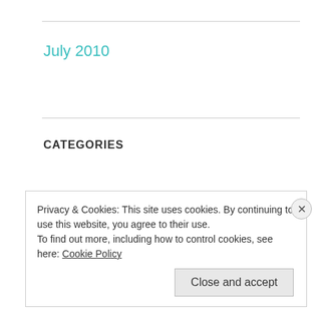July 2010
CATEGORIES
animals
art
autumn
Privacy & Cookies: This site uses cookies. By continuing to use this website, you agree to their use. To find out more, including how to control cookies, see here: Cookie Policy
Close and accept